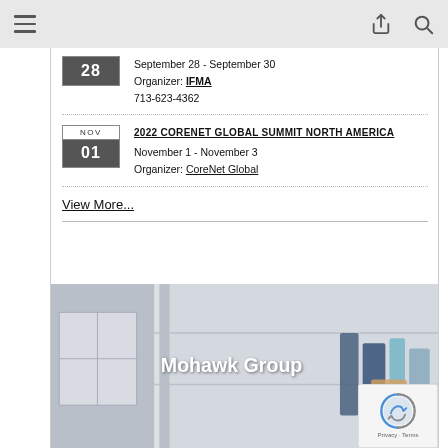September 28 - September 30
Organizer: IFMA
713-623-4362
2022 CORENET GLOBAL SUMMIT NORTH AMERICA
November 1 - November 3
Organizer: CoreNet Global
View More...
[Figure (photo): Photo of a closet/room interior with the text 'Mohawk Group' overlaid in white. The image shows shelving, a window, and hanging fabric items.]